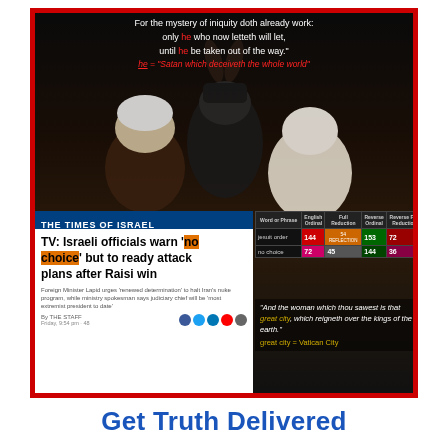[Figure (infographic): Composite image showing three religious/political figures against dark background, overlaid with biblical text, a Times of Israel news headline about Israeli officials warning no choice but to attack after Raisi win, a gematria table with words 'jesuit order' and 'no choice', and a biblical quote about the great city and Vatican City.]
For the mystery of iniquity doth already work: only he who now letteth will let, until he be taken out of the way. he = "Satan which deceiveth the whole world"
THE TIMES OF ISRAEL
TV: Israeli officials warn 'no choice' but to ready attack plans after Raisi win
And the woman which thou sawest is that great city, which reigneth over the kings of the earth. great city = Vatican City
Get Truth Delivered